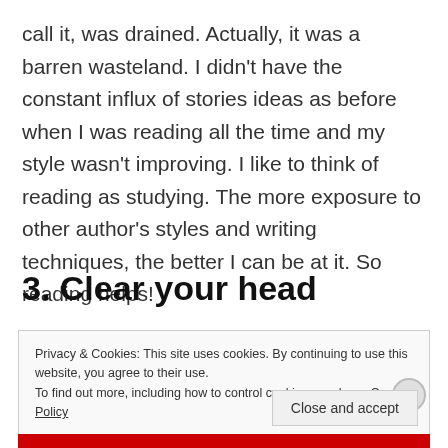call it, was drained. Actually, it was a barren wasteland. I didn't have the constant influx of stories ideas as before when I was reading all the time and my style wasn't improving. I like to think of reading as studying. The more exposure to other author's styles and writing techniques, the better I can be at it. So reading helps!
3. Clear your head
Privacy & Cookies: This site uses cookies. By continuing to use this website, you agree to their use.
To find out more, including how to control cookies, see here: Cookie Policy